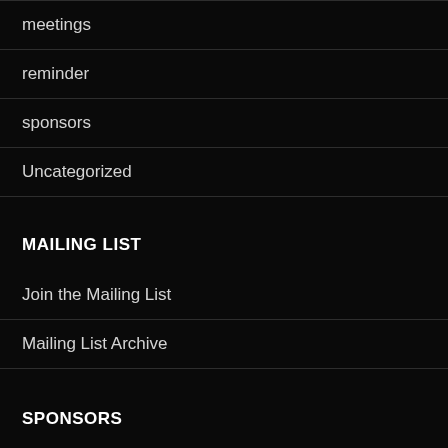meetings
reminder
sponsors
Uncategorized
MAILING LIST
Join the Mailing List
Mailing List Archive
SPONSORS
Alchemy CS